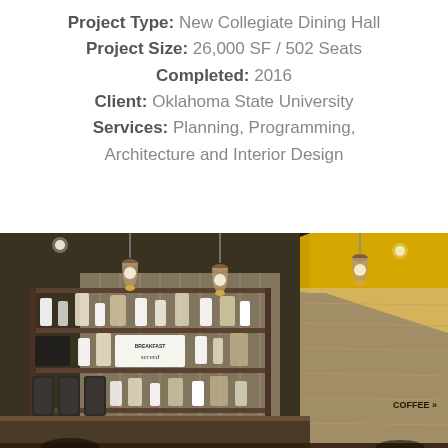Project Type: New Collegiate Dining Hall
Project Size: 26,000 SF / 502 Seats
Completed: 2016
Client: Oklahoma State University
Services: Planning, Programming, Architecture and Interior Design
[Figure (photo): Interior photo of a collegiate dining hall coffee area showing pendant Edison bulb lights hanging from a dark ceiling with a yellow accent ceiling panel, open wooden shelving with mugs and coffee supplies on the left, a counter area, and a coffee station sign on the right wall.]